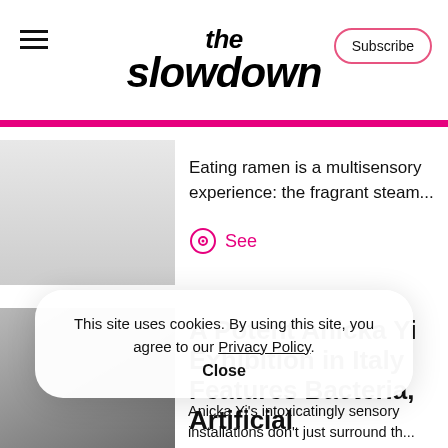the slowdown
Eating ramen is a multisensory experience: the fragrant steam...
See
A Potent Anicka Yi Exhibition in Italy Features Bacteria, Artificial
This site uses cookies. By using this site, you agree to our Privacy Policy. Close
Anicka Yi's intoxicatingly sensory installations don't just surround th...